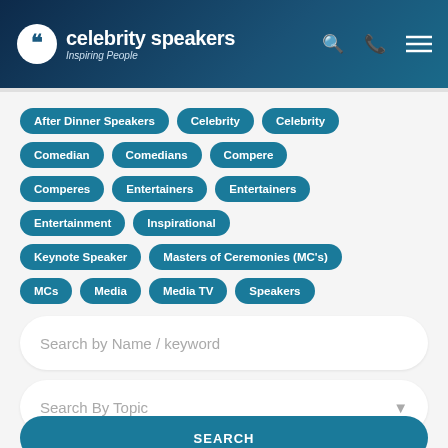celebrity speakers — Inspiring People
After Dinner Speakers
Celebrity
Celebrity
Comedian
Comedians
Compere
Comperes
Entertainers
Entertainers
Entertainment
Inspirational
Keynote Speaker
Masters of Ceremonies (MC's)
MCs
Media
Media TV
Speakers
Search by Name / keyword
Search By Topic
SEARCH